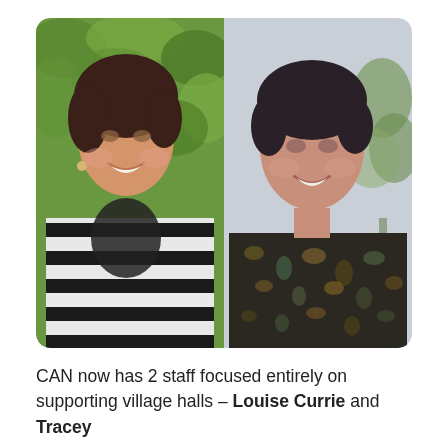[Figure (photo): Two side-by-side portrait photos of two women. Left photo shows a woman with brown layered hair, smiling, wearing a black and white striped top with a dark decorative front piece and a necklace, photographed outdoors with green foliage in the background. Right photo shows a woman with short dark hair, smiling, wearing a dark paisley/patterned blouse, photographed indoors against a light grey wall with a plant visible in the background.]
CAN now has 2 staff focused entirely on supporting village halls – Louise Currie and Tracey